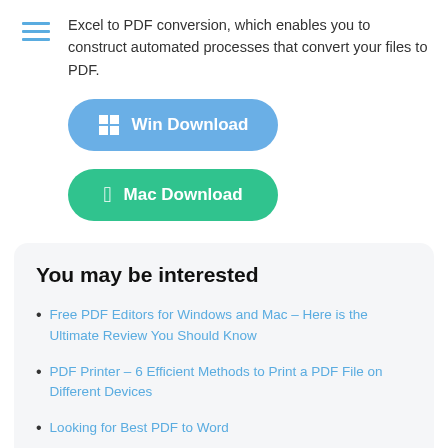Excel to PDF conversion, which enables you to construct automated processes that convert your files to PDF.
[Figure (other): Win Download button (blue rounded rectangle with Windows icon)]
[Figure (other): Mac Download button (green rounded rectangle with Apple icon)]
You may be interested
Free PDF Editors for Windows and Mac – Here is the Ultimate Review You Should Know
PDF Printer – 6 Efficient Methods to Print a PDF File on Different Devices
Looking for Best PDF to Word